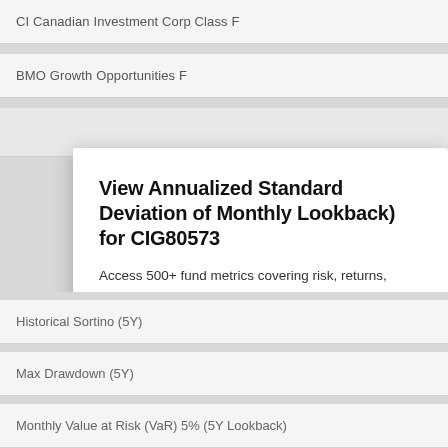CI Canadian Investment Corp Class F
BMO Growth Opportunities F
View Annualized Standard Deviation of Monthly Lookback) for CIG80573
Access 500+ fund metrics covering risk, returns, expos...
Start My Free Trial
No credit card required.
Already a subscriber? Sign in.
Historical Sortino (5Y)
Max Drawdown (5Y)
Monthly Value at Risk (VaR) 5% (5Y Lookback)